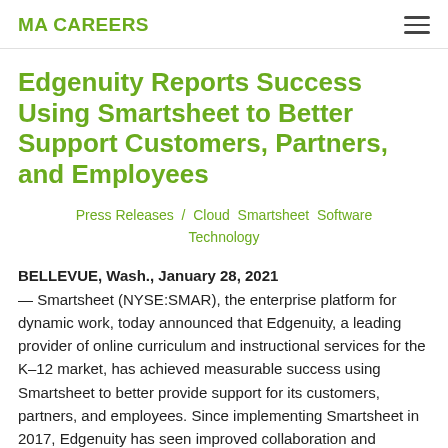MA CAREERS
Edgenuity Reports Success Using Smartsheet to Better Support Customers, Partners, and Employees
Press Releases / Cloud Smartsheet Software Technology
BELLEVUE, Wash., January 28, 2021 — Smartsheet (NYSE:SMAR), the enterprise platform for dynamic work, today announced that Edgenuity, a leading provider of online curriculum and instructional services for the K–12 market, has achieved measurable success using Smartsheet to better provide support for its customers, partners, and employees. Since implementing Smartsheet in 2017, Edgenuity has seen improved collaboration and